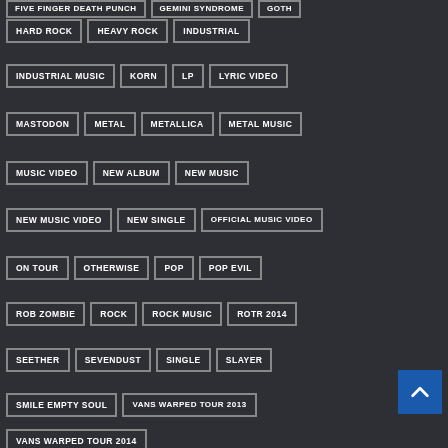FIVE FINGER DEATH PUNCH, GEMINI SYNDROME, GOTH (partial, top row)
HARD ROCK
HEAVY ROCK
INDUSTRIAL
INDUSTRIAL MUSIC
KORN
LP
LYRIC VIDEO
MASTODON
METAL
METALLICA
METAL MUSIC
MUSIC VIDEO
NEW ALBUM
NEW MUSIC
NEW MUSIC VIDEO
NEW SINGLE
OFFICIAL MUSIC VIDEO
ON TOUR
OTHERWISE
POP
POP EVIL
ROB ZOMBIE
ROCK
ROCK MUSIC
ROTR 2014
SEETHER
SEVENDUST
SINGLE
SLAYER
SMILE EMPTY SOUL
VANS WARPED TOUR 2013
VANS WARPED TOUR 2014
What We're Covered